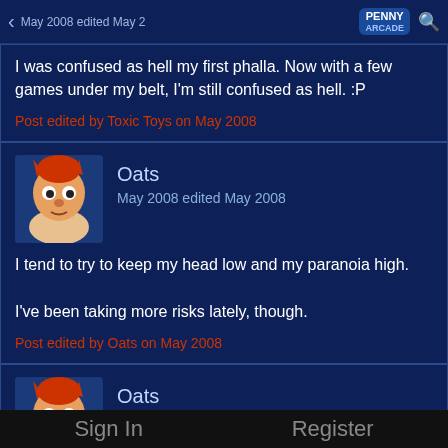May 2008 edited May 2008 | Penny Arcade
I was confused as hell my first phalla. Now with a few games under my belt, I'm still confused as hell. :P
Post edited by Toxic Toys on May 2008
Oats
May 2008 edited May 2008
I tend to try to keep my head low and my paranoia high.

I've been taking more risks lately, though.
Post edited by Oats on May 2008
Oats
May 2008 edited May 2008
How long until Evilbadman gets voted out for his name?
Sign In    Register